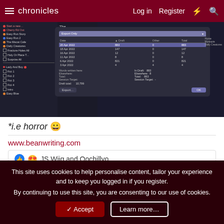chronicles  Log in  Register
[Figure (screenshot): Screenshot of a writing app with a left panel showing story items, a center text panel, and a dialog box showing word count statistics by date including entries for 20 Apr 2022 (883 words), 18 Apr 2022 (147), 16 Apr 2022 (12), 11 Apr 2022 (8), 6 Apr 2022 (821), 3 Apr 2022 (4). Summary shows Words written in Draft: 883, Elsewhere: 8, Total: 883, Session Target: -, Draft total: 10,799.]
*i.e horror 😀
www.beanwriting.com
👍 😍 JS Wiig and Oochillyo
This site uses cookies to help personalise content, tailor your experience and to keep you logged in if you register.
By continuing to use this site, you are consenting to our use of cookies.
✓ Accept   Learn more...